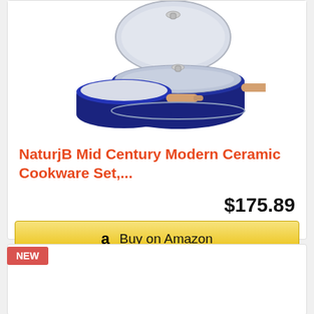[Figure (photo): Blue ceramic cookware set with wooden handles — a flat plate/lid on top, a saucepan on the left, and a covered sauté pan on the right, all with navy blue exterior and light gray interior.]
NaturjB Mid Century Modern Ceramic Cookware Set,...
$175.89
Buy on Amazon
NEW